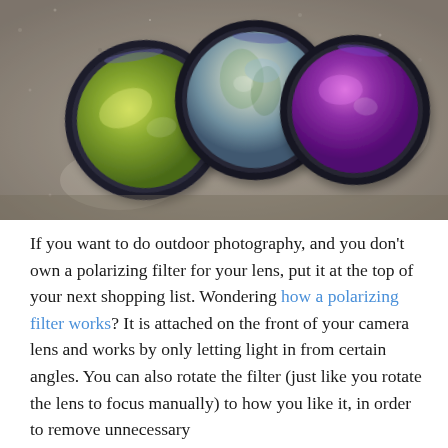[Figure (photo): Three circular camera lens filters (polarizing filters) resting on a rough stone/concrete surface. Left filter has a green-yellow tint, center filter is clear/silver, right filter has a purple/violet tint. All have dark metal rims.]
If you want to do outdoor photography, and you don't own a polarizing filter for your lens, put it at the top of your next shopping list. Wondering how a polarizing filter works? It is attached on the front of your camera lens and works by only letting light in from certain angles. You can also rotate the filter (just like you rotate the lens to focus manually) to how you like it, in order to remove unnecessary